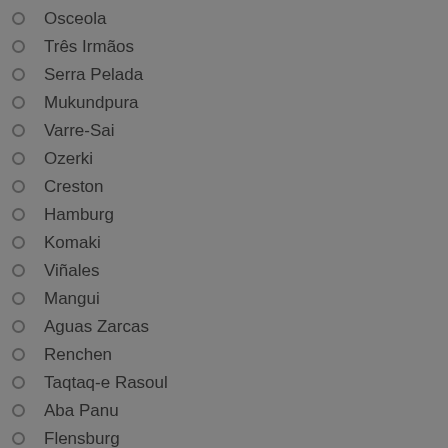Osceola
Três Irmãos
Serra Pelada
Mukundpura
Varre-Sai
Ozerki
Creston
Hamburg
Komaki
Viñales
Mangui
Aguas Zarcas
Renchen
Taqtaq-e Rasoul
Aba Panu
Flensburg
Mahadeva
Novo Mesto